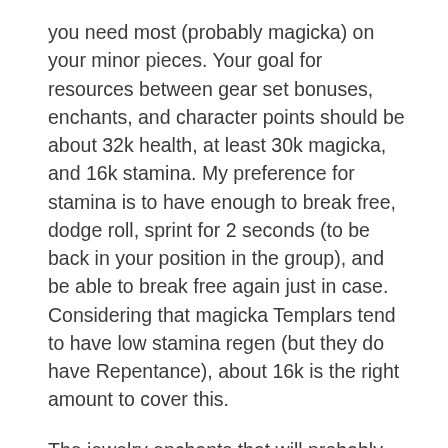you need most (probably magicka) on your minor pieces. Your goal for resources between gear set bonuses, enchants, and character points should be about 32k health, at least 30k magicka, and 16k stamina. My preference for stamina is to have enough to break free, dodge roll, sprint for 2 seconds (to be back in your position in the group), and be able to break free again just in case. Considering that magicka Templars tend to have low stamina regen (but they do have Repentance), about 16k is the right amount to cover this.
The jewelry enchants that will probably be best for most healers are two magicka regen and one magicka cost reduction, though there are some builds where three magicka regen are best, and others where one magicka regen, one magicka cost reduction, and one spell damage are best. As a healer, you need to know